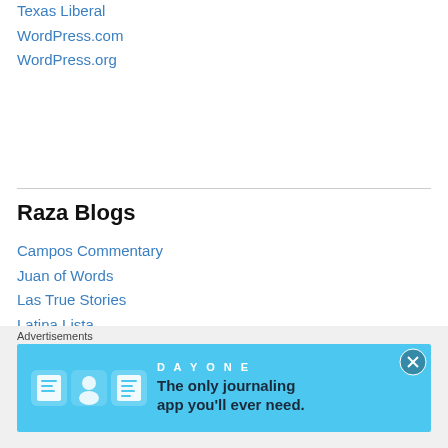Texas Liberal
WordPress.com
WordPress.org
Raza Blogs
Campos Commentary
Juan of Words
Las True Stories
Latina Lista
Latina TNT
Migra Matters
NewsTaco
Our DH Streets
Our New Anahuac
The MexFiles
Advertisements
[Figure (infographic): Day One journaling app advertisement with blue background, app icons, and text: 'The only journaling app you'll ever need.']